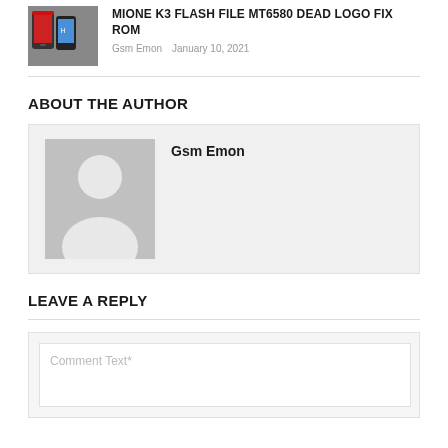[Figure (photo): Thumbnail image of smartphone showing Mione K3 flash file article]
MIONE K3 FLASH FILE MT6580 DEAD LOGO FIX ROM
Gsm Emon   January 10, 2021
ABOUT THE AUTHOR
[Figure (photo): Default grey silhouette avatar placeholder image for author Gsm Emon]
Gsm Emon
LEAVE A REPLY
Comment Text*